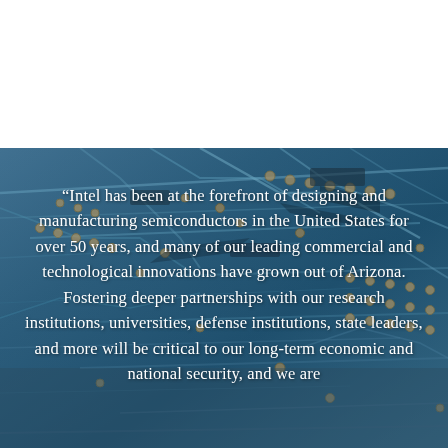[Figure (photo): Close-up photograph of a blue-tinted circuit board with gold solder points and copper traces, shown at an angle. The upper portion of the page is white (blank). The lower portion shows the circuit board image with a large white quote overlaid on it.]
“Intel has been at the forefront of designing and manufacturing semiconductors in the United States for over 50 years, and many of our leading commercial and technological innovations have grown out of Arizona. Fostering deeper partnerships with our research institutions, universities, defense institutions, state leaders, and more will be critical to our long-term economic and national security, and we are